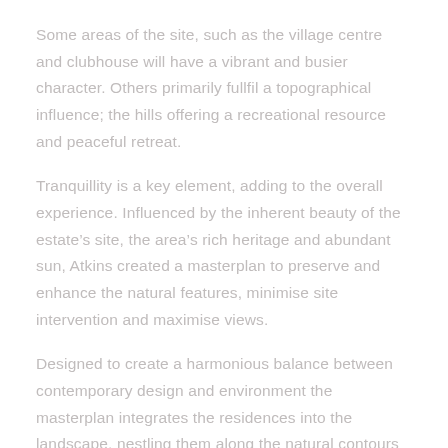Some areas of the site, such as the village centre and clubhouse will have a vibrant and busier character. Others primarily fullfil a topographical influence; the hills offering a recreational resource and peaceful retreat.
Tranquillity is a key element, adding to the overall experience. Influenced by the inherent beauty of the estate's site, the area's rich heritage and abundant sun, Atkins created a masterplan to preserve and enhance the natural features, minimise site intervention and maximise views.
Designed to create a harmonious balance between contemporary design and environment the masterplan integrates the residences into the landscape, nestling them along the natural contours of the land to protect the hilltops and ridges. The organic arrangement maximises the views, frontage and privacy of each residence while providing ample space for the clubhouse and amenities from the heart of the